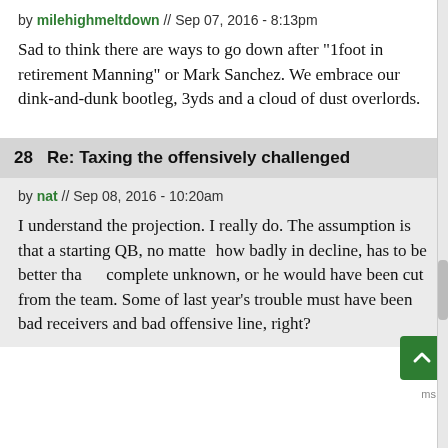by milehighmeltdown // Sep 07, 2016 - 8:13pm
Sad to think there are ways to go down after "1foot in retirement Manning" or Mark Sanchez. We embrace our dink-and-dunk bootleg, 3yds and a cloud of dust overlords.
28   Re: Taxing the offensively challenged
by nat // Sep 08, 2016 - 10:20am
I understand the projection. I really do. The assumption is that a starting QB, no matter how badly in decline, has to be better than a complete unknown, or he would have been cut from the team. Some of last year's trouble must have been bad receivers and bad offensive line, right?